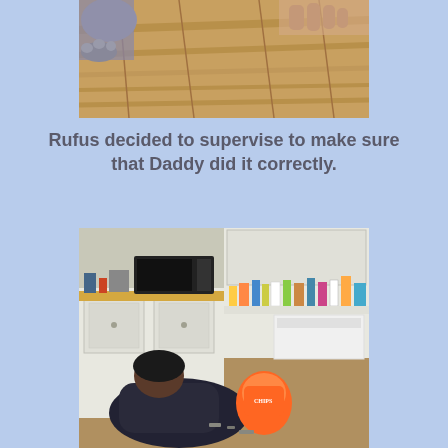[Figure (photo): Close-up photo of a cat's paw and lower body on a wooden floor, with a person's hand visible, suggesting the cat is supervising floor work.]
Rufus decided to supervise to make sure that Daddy did it correctly.
[Figure (photo): Photo of a person crouching on a kitchen floor, with white cabinets, a black microwave, various items on countertops, and a bag of chips nearby.]